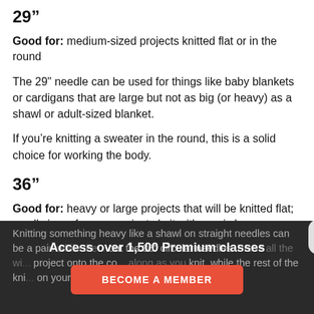29”
Good for: medium-sized projects knitted flat or in the round
The 29" needle can be used for things like baby blankets or cardigans that are large but not as big (or heavy) as a shawl or adult-sized blanket.
If you’re knitting a sweater in the round, this is a solid choice for working the body.
36”
Good for: heavy or large projects that will be knitted flat; small circumference projects knit with magic loop
Knitting something heavy like a shawl on straight needles can be a pain while the... out the 36" circular needles. Press all the wi... project onto the co... along as you knit, while the rest of the kni... on your lap as you...
Access over 1,500 Premium classes
BECOME A MEMBER